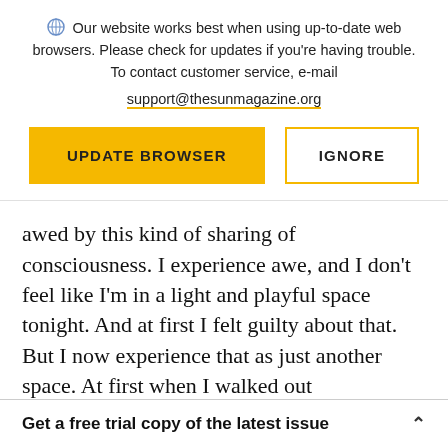Our website works best when using up-to-date web browsers. Please check for updates if you're having trouble. To contact customer service, e-mail support@thesunmagazine.org
[Figure (other): Two buttons: 'UPDATE BROWSER' (filled yellow) and 'IGNORE' (yellow outline)]
awed by this kind of sharing of consciousness. I experience awe, and I don't feel like I'm in a light and playful space tonight. And at first I felt guilty about that. But I now experience that as just another space. At first when I walked out
Get a free trial copy of the latest issue